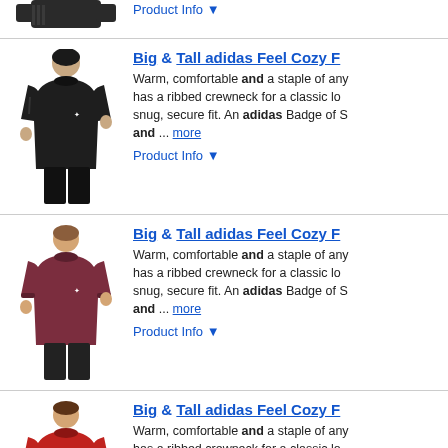[Figure (photo): Partial product image at top - black adidas sweatshirt, cropped]
Product Info ▼
[Figure (photo): Man wearing black adidas Feel Cozy fleece sweatshirt]
Big & Tall adidas Feel Cozy F...
Warm, comfortable and a staple of any... has a ribbed crewneck for a classic lo... snug, secure fit. An adidas Badge of S... and ... more
Product Info ▼
[Figure (photo): Man wearing dark red/maroon adidas Feel Cozy fleece sweatshirt]
Big & Tall adidas Feel Cozy F...
Warm, comfortable and a staple of any... has a ribbed crewneck for a classic lo... snug, secure fit. An adidas Badge of S... and ... more
Product Info ▼
[Figure (photo): Man wearing red adidas Feel Cozy fleece sweatshirt]
Big & Tall adidas Feel Cozy F...
Warm, comfortable and a staple of any... has a ribbed crewneck for a classic lo... snug, secure fit. An adidas Badge of S... and ... more
Product Info ▼
Ads related to big and tall adidas feel cozy fleece sweat...